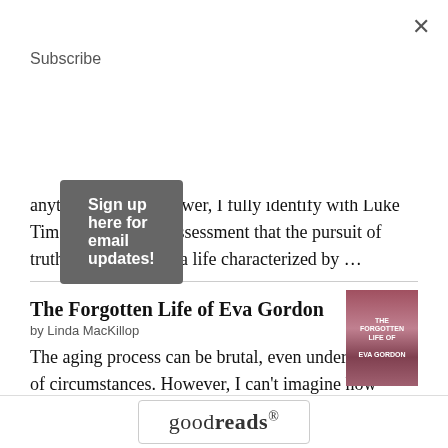Subscribe
Sign up here for email updates!
anything but ivory tower, I fully identify with Luke Timothy Johnson's assessment that the pursuit of truth often results in a life characterized by …
The Forgotten Life of Eva Gordon
by Linda MacKillop
[Figure (illustration): Book cover for The Forgotten Life of Eva Gordon with dark reddish-pink tones]
The aging process can be brutal, even under the best of circumstances. However, I can't imagine how difficult it must be for those who have spent their long lives burning bridges. Set in beautiful New England, The Forgotten Life of Eva …
goodreads®